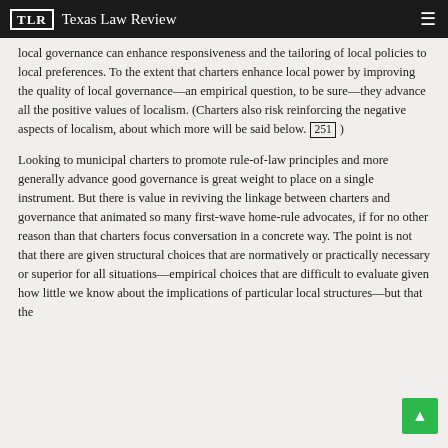TLR  Texas Law Review
local governance can enhance responsiveness and the tailoring of local policies to local preferences. To the extent that charters enhance local power by improving the quality of local governance—an empirical question, to be sure—they advance all the positive values of localism. (Charters also risk reinforcing the negative aspects of localism, about which more will be said below. [251] )
Looking to municipal charters to promote rule-of-law principles and more generally advance good governance is great weight to place on a single instrument. But there is value in reviving the linkage between charters and governance that animated so many first-wave home-rule advocates, if for no other reason than that charters focus conversation in a concrete way. The point is not that there are given structural choices that are normatively or practically necessary or superior for all situations—empirical choices that are difficult to evaluate given how little we know about the implications of particular local structures—but that the